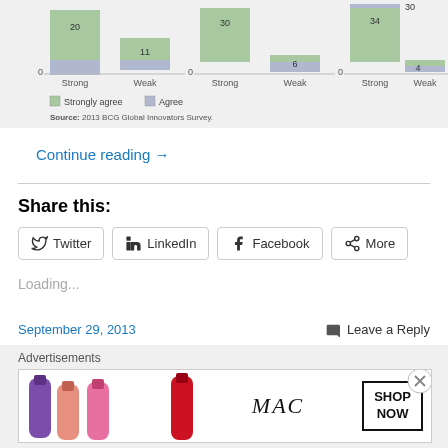[Figure (other): Partial stacked bar chart showing Strong vs Weak categories with Strongly agree and Agree legend, source: 2013 BCG Global Innovators Survey]
Continue reading →
Share this:
Twitter  LinkedIn  Facebook  More
Loading...
September 29, 2013
Leave a Reply
Advertisements
[Figure (photo): MAC Cosmetics advertisement showing lipsticks and SHOP NOW button]